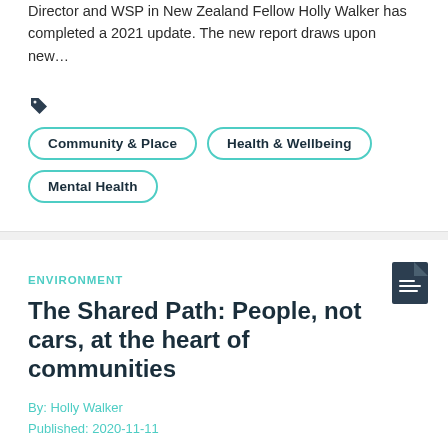Director and WSP in New Zealand Fellow Holly Walker has completed a 2021 update. The new report draws upon new…
Community & Place
Health & Wellbeing
Mental Health
ENVIRONMENT
The Shared Path: People, not cars, at the heart of communities
By: Holly Walker
Published: 2020-11-11
The transport sector accounts for almost a quarter of our total climate emissions, and more than half of these come from private vehicles. New Zealand has committed to reaching net-zero…